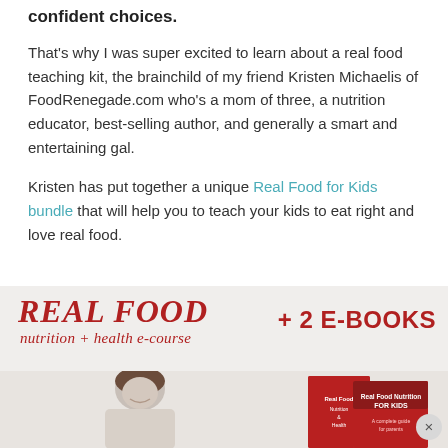confident choices.
That's why I was super excited to learn about a real food teaching kit, the brainchild of my friend Kristen Michaelis of FoodRenegade.com who's a mom of three, a nutrition educator, best-selling author, and generally a smart and entertaining gal.
Kristen has put together a unique Real Food for Kids bundle that will help you to teach your kids to eat right and love real food.
[Figure (illustration): Promotional banner for 'Real Food nutrition + health e-course + 2 E-BOOKS' with a photo of a smiling woman and book covers for Real Food Nutrition & Health and Real Food Nutrition for KIDS]